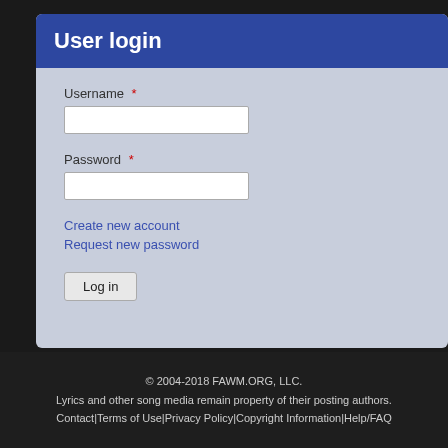User login
Username *
Password *
Create new account
Request new password
Log in
© 2004-2018 FAWM.ORG, LLC. Lyrics and other song media remain property of their posting authors. Contact|Terms of Use|Privacy Policy|Copyright Information|Help/FAQ